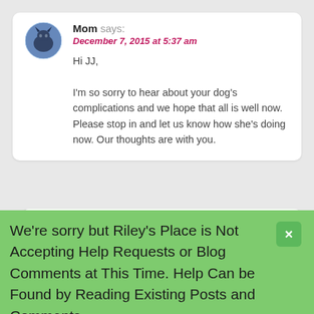[Figure (photo): Round avatar photo of a dog (appears to be a German Shepherd or similar dark breed)]
Mom says:
December 7, 2015 at 5:37 am

Hi JJ,

I'm so sorry to hear about your dog's complications and we hope that all is well now. Please stop in and let us know how she's doing now. Our thoughts are with you.
What is Hip Dysplasia in Dogs? | naturestails says:
November 15, 2015 at 11:37 am

[...] x-rays are the only way to confirm a conclusive diagnosis. Any dog that presents with symptoms of hip dysplasia should be x-rayed [...]
We're sorry but Riley's Place is Not Accepting Help Requests or Blog Comments at This Time. Help Can be Found by Reading Existing Posts and Comments.